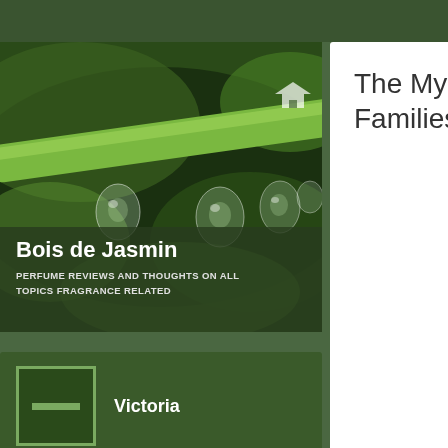[Figure (photo): Close-up photo of green plant stem with water droplets hanging from it, bokeh background]
Bois de Jasmin
PERFUME REVIEWS AND THOUGHTS ON ALL TOPICS FRAGRANCE RELATED
Victoria
1
FOLLOWING
138
FOLLOWERS
The Myste Families